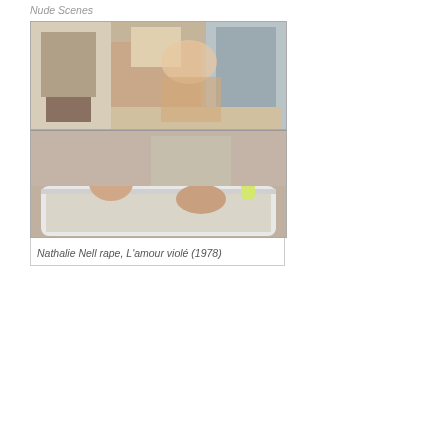Nude Scenes
[Figure (photo): Two stacked film stills: top image shows a nude figure from behind in a bedroom setting with a fireplace; bottom image shows two people in a bathtub.]
Nathalie Nell rape, L'amour violé (1978)